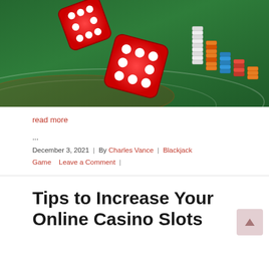[Figure (photo): Casino table with two red dice in mid-air and stacks of casino chips (white, orange, blue) on a green felt table surface]
read more
...
December 3, 2021  |  By Charles Vance  |  Blackjack Game  |  Leave a Comment
Tips to Increase Your Online Casino Slots